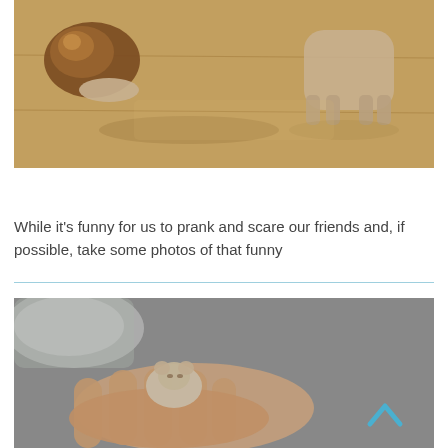[Figure (photo): A large snail on a wooden floor next to a small animal (dog or cat) viewed from behind, on a light wood floor background]
Surprises Are Not Always Welcome – 13 Pics
While it's funny for us to prank and scare our friends and, if possible, take some photos of that funny
[Figure (photo): A tiny newborn hamster or mouse held in a human hand, with a blurred plate visible in the background. A blue chevron/up-arrow icon is visible in the lower right corner.]